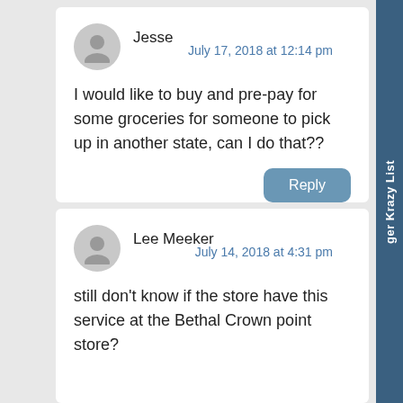Jesse
July 17, 2018 at 12:14 pm
I would like to buy and pre-pay for some groceries for someone to pick up in another state, can I do that??
Lee Meeker
July 14, 2018 at 4:31 pm
still don’t know if the store have this service at the Bethal Crown point store?